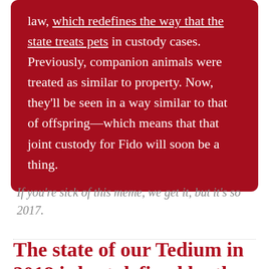law, which redefines the way that the state treats pets in custody cases. Previously, companion animals were treated as similar to property. Now, they'll be seen in a way similar to that of offspring—which means that that joint custody for Fido will soon be a thing.
If you're sick of this meme, we get it, but it's so 2017.
The state of our Tedium in 2018 is best defined by the David Dao incident